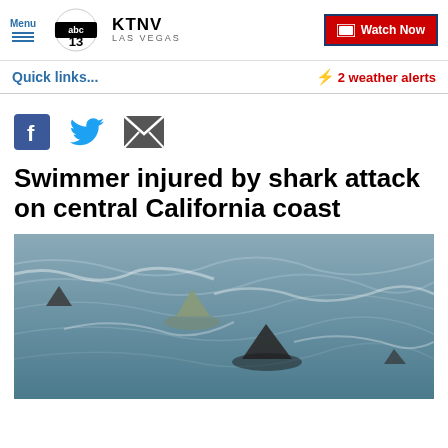Menu | KTNV LAS VEGAS | Watch Now
Quick links...
⚡ 2 weather alerts
[Figure (illustration): Social media share icons: Facebook, Twitter, Email]
Swimmer injured by shark attack on central California coast
[Figure (photo): Shark fins visible above ocean water surface, multiple sharks swimming near the surface with choppy waves]